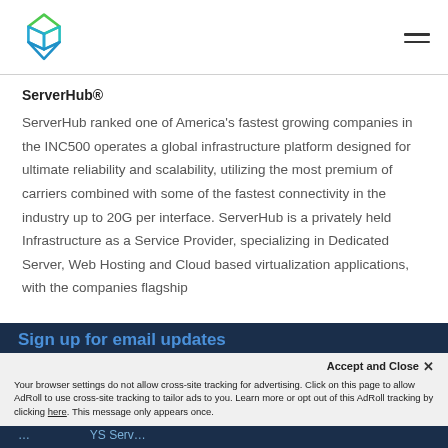ServerHub logo and navigation
ServerHub®
ServerHub ranked one of America's fastest growing companies in the INC500 operates a global infrastructure platform designed for ultimate reliability and scalability, utilizing the most premium of carriers combined with some of the fastest connectivity in the industry up to 20G per interface. ServerHub is a privately held Infrastructure as a Service Provider, specializing in Dedicated Server, Web Hosting and Cloud based virtualization applications, with the companies flagship
Sign up for email updates
Your browser settings do not allow cross-site tracking for advertising. Click on this page to allow AdRoll to use cross-site tracking to tailor ads to you. Learn more or opt out of this AdRoll tracking by clicking here. This message only appears once.